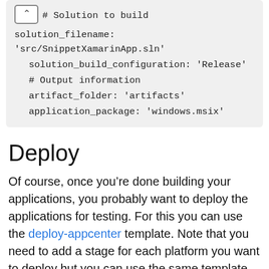[Figure (screenshot): Code block showing YAML configuration with solution_filename, solution_build_configuration, artifact_folder, and application_package fields, with a collapse chevron button.]
Deploy
Of course, once you're done building your applications, you probably want to deploy the applications for testing. For this you can use the deploy-appcenter template. Note that you need to add a stage for each platform you want to deploy but you can use the same template as it knows how to deploy iOS, Android and Windows applications to AppCenter.